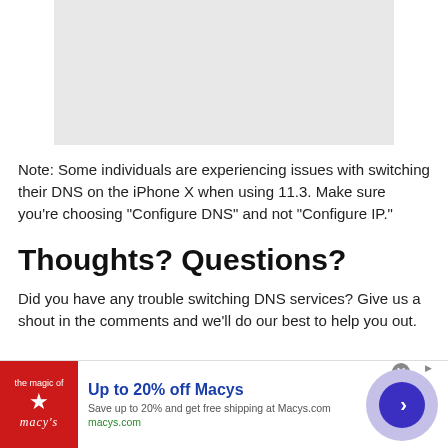[Figure (other): Gray placeholder image rectangle at top of page]
Note: Some individuals are experiencing issues with switching their DNS on the iPhone X when using 11.3. Make sure you're choosing "Configure DNS" and not "Configure IP."
Thoughts? Questions?
Did you have any trouble switching DNS services? Give us a shout in the comments and we'll do our best to help you out.
[Figure (other): Advertisement banner: Up to 20% off Macys. Save up to 20% and get free shipping at Macys.com. macys.com]